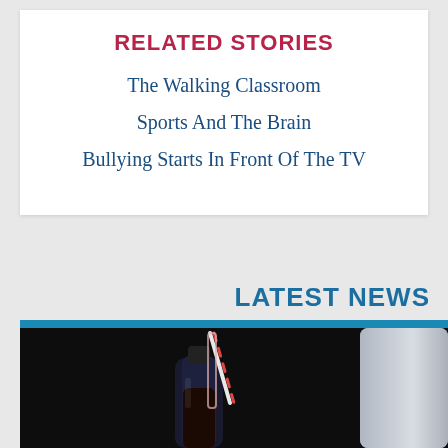RELATED STORIES
The Walking Classroom
Sports And The Brain
Bullying Starts In Front Of The TV
LATEST NEWS
[Figure (photo): A dark background photo showing a soda bottle with a pink/white striped straw inserted in it, with what appears to be a cup or container on the right side.]